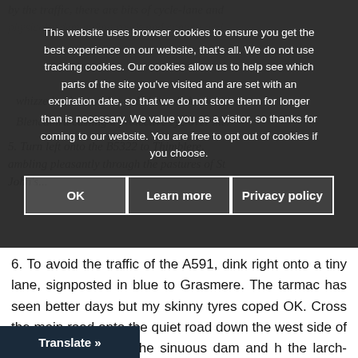by the traffic, there are bits of cycle-lane and physically demanding roads and content and whizzed down the clickety-click with Blencathra casting a protective eye over me.
This website uses browser cookies to ensure you get the best experience on our website, that's all. We do not use tracking cookies. Our cookies allow us to help see which parts of the site you've visited and are set with an expiration date, so that we do not store them for longer than is necessary. We value you as a visitor, so thanks for coming to our website. You are free to opt out of cookies if you choose.
5. Turn left onto the B5322 to Thimblere, ambling pleasantly through the pastures of St John's...
OK | Learn more | Privacy policy
6. To avoid the traffic of the A591, dink right onto a tiny lane, signposted in blue to Grasmere. The tarmac has seen better days but my skinny tyres coped OK. Cross the main road onto the quiet road down the west side of Thirlmere, crossing the sinuous dam and h the larch-needled shore.
Translate »